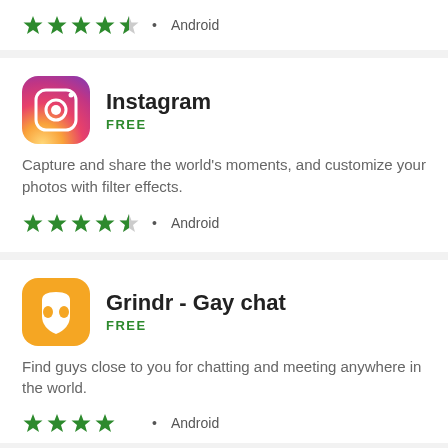[Figure (other): 4.5 star rating with Android label (top partial card)]
[Figure (other): Instagram app icon - gradient purple/pink/orange camera logo]
Instagram
FREE
Capture and share the world's moments, and customize your photos with filter effects.
[Figure (other): 4.5 star rating with Android label]
[Figure (other): Grindr app icon - yellow mask logo]
Grindr - Gay chat
FREE
Find guys close to you for chatting and meeting anywhere in the world.
[Figure (other): Partial 4+ star rating with Android label (bottom cut off)]